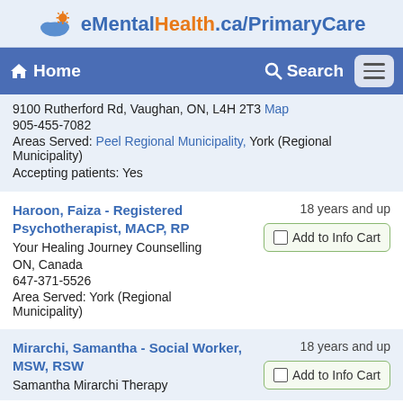eMentalHealth.ca/PrimaryCare
Home  Search
9100 Rutherford Rd, Vaughan, ON, L4H 2T3 Map
905-455-7082
Areas Served: Peel Regional Municipality, York (Regional Municipality)
Accepting patients: Yes
Haroon, Faiza - Registered Psychotherapist, MACP, RP
Your Healing Journey Counselling
ON, Canada
647-371-5526
Area Served: York (Regional Municipality)
18 years and up
Add to Info Cart
Mirarchi, Samantha - Social Worker, MSW, RSW
Samantha Mirarchi Therapy
18 years and up
Add to Info Cart